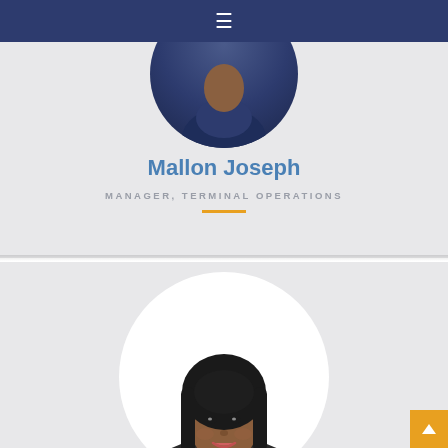[Figure (photo): Navigation bar with hamburger menu icon on dark navy background]
[Figure (photo): Profile card for Mallon Joseph with circular portrait photo on grey background]
Mallon Joseph
MANAGER, TERMINAL OPERATIONS
[Figure (photo): Second profile card with circular portrait of a woman with dark hair on grey background, partially visible]